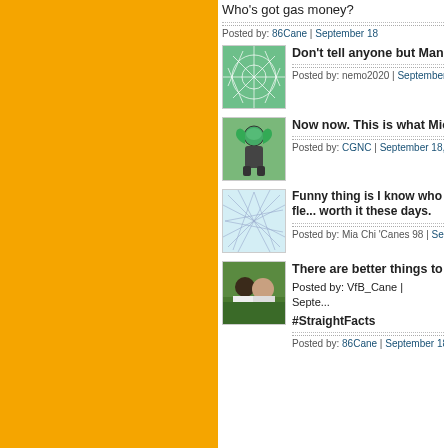[Figure (screenshot): Orange sidebar taking up left portion of page]
Who's got gas money?
Posted by: 86Cane | September 18
Don't tell anyone but Manny b...
Posted by: nemo2020 | September
Now now. This is what Michig...
Posted by: CGNC | September 18,
Funny thing is I know who fle... worth it these days.
Posted by: Mia Chi 'Canes 98 | Sep
There are better things to do
Posted by: VfB_Cane | Septe...
#StraightFacts
Posted by: 86Cane | September 18